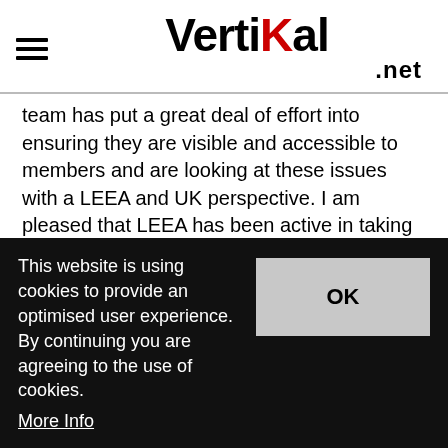Vertikal.net
team has put a great deal of effort into ensuring they are visible and accessible to members and are looking at these issues with a LEEA and UK perspective. I am pleased that LEEA has been active in taking measures to tackle issues created by both Covid and Brexit.”
Established in 1944, LEEA campaigns for higher
This website is using cookies to provide an optimised user experience. By continuing you are agreeing to the use of cookies. More Info